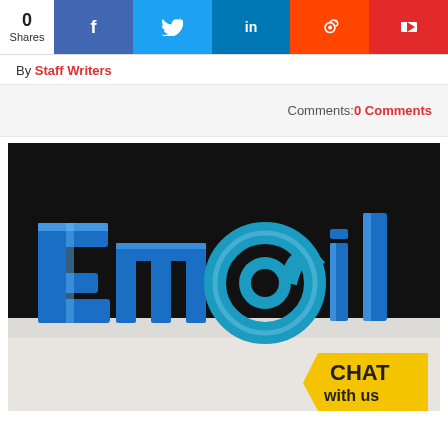0 Shares | Facebook | Twitter | LinkedIn | Reddit | Flipboard
By Staff Writers
Comments:0 Comments
[Figure (photo): 3D blue block letters spelling 'Em@il' on a white surface against a black background, with a yellow 'CHAT with us' badge in the bottom right corner.]